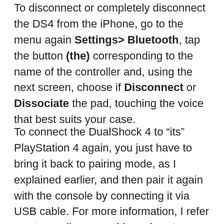To disconnect or completely disconnect the DS4 from the iPhone, go to the menu again Settings> Bluetooth, tap the button (the) corresponding to the name of the controller and, using the next screen, choose if Disconnect or Dissociate the pad, touching the voice that best suits your case.
To connect the DualShock 4 to “its” PlayStation 4 again, you just have to bring it back to pairing mode, as I explained earlier, and then pair it again with the console by connecting it via USB cable. For more information, I refer you to reading my guide on how to connect the PS4 joystick, in which I have treated the subject in great detail.